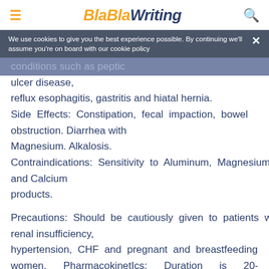BlaBlaWriting
We use cookies to give you the best experience possible. By continuing we'll assume you're on board with our cookie policy
conditions such as peptic ulcer disease, reflux esophagitis, gastritis and hiatal hernia. Side Effects: Constipation, fecal impaction, bowel obstruction. Diarrhea with Magnesium. Alkalosis. Contraindications: Sensitivity to Aluminum, Magnesium and Calcium products.
Precautions: Should be cautiously given to patients with renal insufficiency, hypertension, CHF and pregnant and breastfeeding women. PharmacokinetIcs: Duration is 20-40 minutes. If ingested 1 hr after meals,